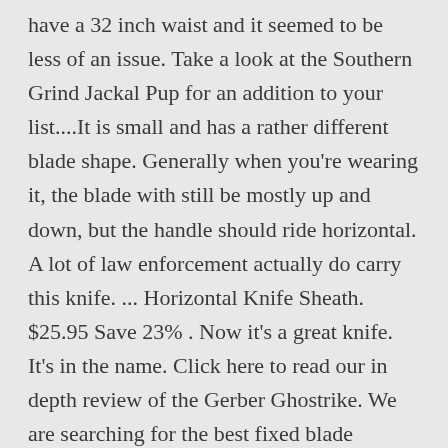have a 32 inch waist and it seemed to be less of an issue. Take a look at the Southern Grind Jackal Pup for an addition to your list....It is small and has a rather different blade shape. Generally when you're wearing it, the blade with still be mostly up and down, but the handle should ride horizontal. A lot of law enforcement actually do carry this knife. ... Horizontal Knife Sheath. $25.95 Save 23% . Now it's a great knife. It's in the name. Click here to read our in depth review of the Gerber Ghostrike. We are searching for the best fixed blade horizontal sheath on the market and analyze. Your right hand can reach down to your right side or across your stomach to unsnap it. This also means that if you happen to